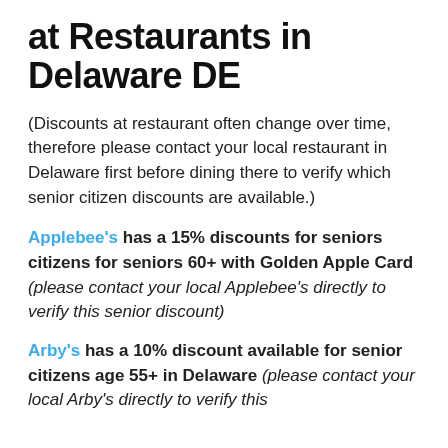at Restaurants in Delaware DE
(Discounts at restaurant often change over time, therefore please contact your local restaurant in Delaware first before dining there to verify which senior citizen discounts are available.)
Applebee's has a 15% discounts for seniors citizens for seniors 60+ with Golden Apple Card (please contact your local Applebee's directly to verify this senior discount)
Arby's has a 10% discount available for senior citizens age 55+ in Delaware (please contact your local Arby's directly to verify this